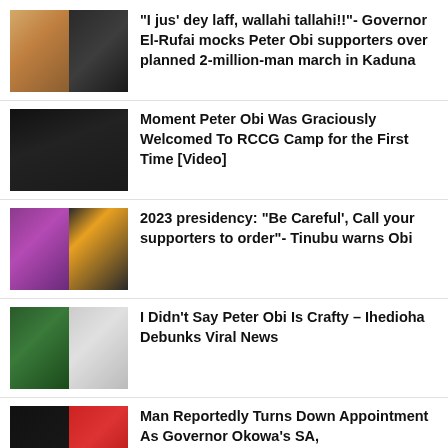“I jus’ dey laff, wallahi tallahi!!”- Governor El-Rufai mocks Peter Obi supporters over planned 2-million-man march in Kaduna
[Figure (photo): Two men side by side - Governor El-Rufai and Peter Obi]
Moment Peter Obi Was Graciously Welcomed To RCCG Camp for the First Time [Video]
[Figure (photo): Peter Obi at a dark background event]
2023 presidency: “Be Careful’, Call your supporters to order”- Tinubu warns Obi
[Figure (photo): Tinubu and Peter Obi side by side]
I Didn’t Say Peter Obi Is Crafty – Ihedioha Debunks Viral News
[Figure (photo): Ihedioha and another man with Nigerian flag]
Man Reportedly Turns Down Appointment As Governor Okowa’s SA,